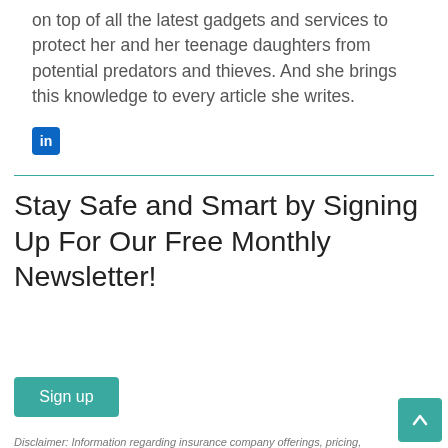on top of all the latest gadgets and services to protect her and her teenage daughters from potential predators and thieves. And she brings this knowledge to every article she writes.
[Figure (logo): LinkedIn icon — blue square with 'in' in white]
Stay Safe and Smart by Signing Up For Our Free Monthly Newsletter!
Your first name
Your email address
Sign up
Disclaimer: Information regarding insurance company offerings, pricing,